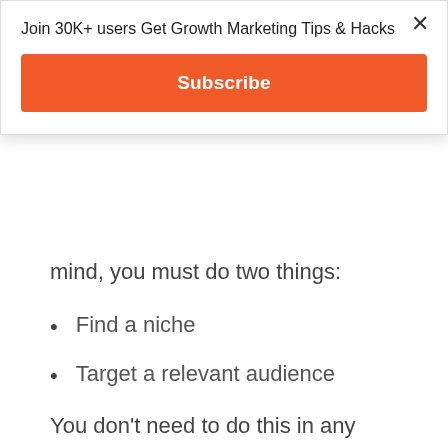Join 30K+ users Get Growth Marketing Tips & Hacks
Subscribe
mind, you must do two things:
Find a niche
Target a relevant audience
You don't need to do this in any particular order. The important thing to remember is that high-quality content is specific. This is why we recommend that you specialize in any given field – if you only have general or broad knowledge of a topic, it's impossible to